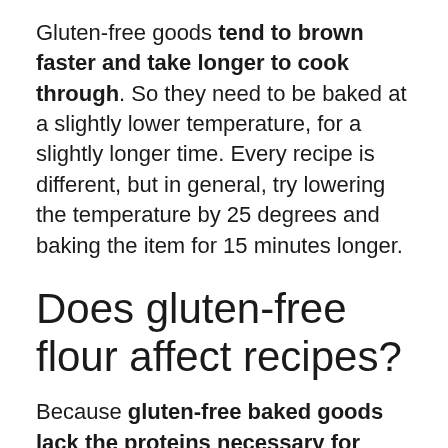Gluten-free goods tend to brown faster and take longer to cook through. So they need to be baked at a slightly lower temperature, for a slightly longer time. Every recipe is different, but in general, try lowering the temperature by 25 degrees and baking the item for 15 minutes longer.
Does gluten-free flour affect recipes?
Because gluten-free baked goods lack the proteins necessary for structure-building, they can sometimes become crumbly, or not rise very well. ... Many recipes call for additional flours or starches beyond a basic gluten-free flour blend. These